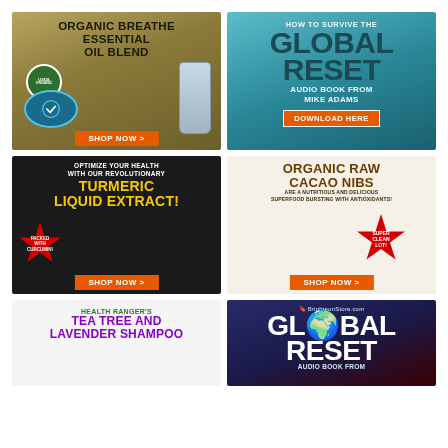[Figure (illustration): Advertisement for Organic Breathe Essential Oil Blend with USDA Organic badge, woman breathing fresh air, essential oil bottle, and SHOP NOW button]
[Figure (illustration): Advertisement: HOW TO SURVIVE THE GLOBAL RESET - Audio Book from Mike Adams with DOWNLOAD HERE button on teal background]
[Figure (illustration): Advertisement: Optimize your health with our revolutionary TURMERIC LIQUID EXTRACT - Packed with Curcumin - SHOP NOW button on dark background]
[Figure (illustration): Advertisement: ORGANIC RAW CACAO NIBS are a nutritious and delicious superfood bursting with antioxidants! SUPER CLEAN LOT! SHOP NOW]
[Figure (illustration): Advertisement: HEALTH RANGER'S TEA TREE AND LAVENDER SHAMPOO with lavender plant imagery]
[Figure (illustration): Advertisement: BrighteonStore.com GLOBAL RESET Audio book from - dark blue/red background]